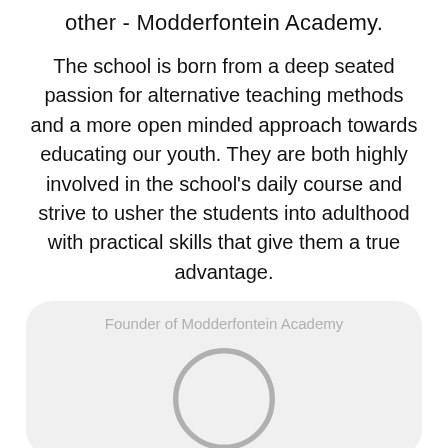other - Modderfontein Academy.
The school is born from a deep seated passion for alternative teaching methods and a more open minded approach towards educating our youth. They are both highly involved in the school's daily course and strive to usher the students into adulthood with practical skills that give them a true advantage.
[Figure (illustration): A rounded card with the label 'Founder of Modderfontein Academy' and a large circular placeholder image outline below it.]